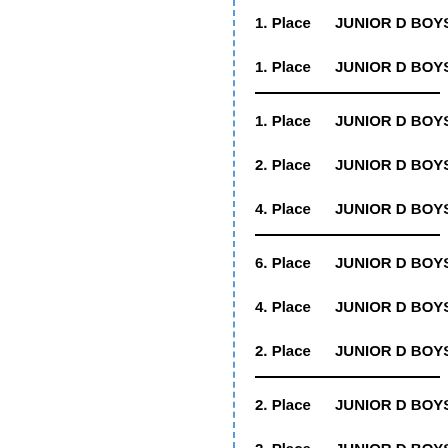1. Place   JUNIOR D BOYS   5
1. Place   JUNIOR D BOYS   7
1. Place   JUNIOR D BOYS   1
2. Place   JUNIOR D BOYS   5
4. Place   JUNIOR D BOYS   7
6. Place   JUNIOR D BOYS   1
4. Place   JUNIOR D BOYS   5
2. Place   JUNIOR D BOYS   7
2. Place   JUNIOR D BOYS   1
2. Place   JUNIOR D BOYS   5